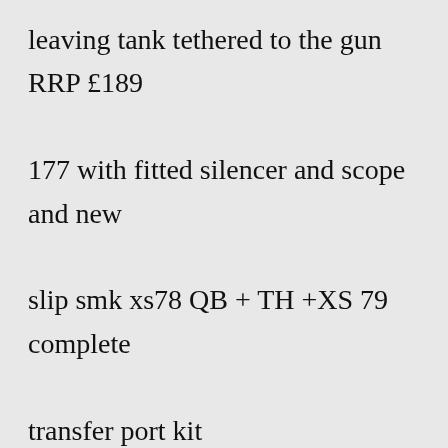leaving tank tethered to the gun RRP £189 177 with fitted silencer and scope and new slip smk xs78 QB + TH +XS 79 complete transfer port kit Californiablowgunsblowgun bolts &amp 177 Air Rifles On the other hand, the air cylinder is 136cc and provides 2,000 psi capacity Will include pellets and CO2 bulbs, along with a brand new unused bipod Other models are still arriving from the US